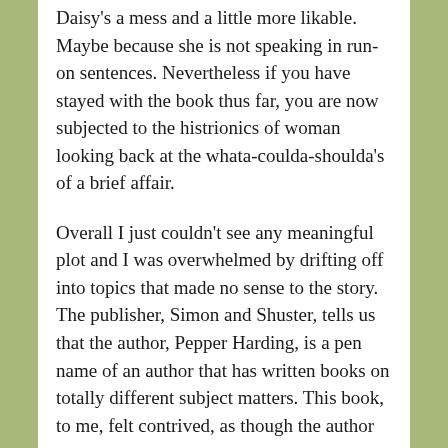Daisy's a mess and a little more likable.  Maybe because she is not speaking in run-on sentences. Nevertheless if you have stayed with the book thus far, you are now subjected to the histrionics of woman looking back at the whata-coulda-shoulda's of a brief affair.
Overall I just couldn't see any meaningful plot and I was overwhelmed by drifting off into topics that made no sense to the story. The publisher, Simon and Shuster, tells us that the author, Pepper Harding, is a pen name of an author that has written books on totally different subject matters. This book, to me, felt contrived, as though the author